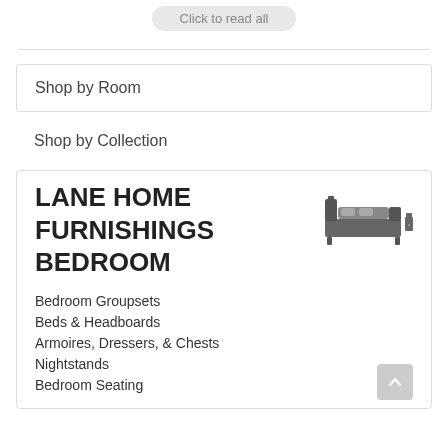Click to read all
Shop by Room
Shop by Collection
LANE HOME FURNISHINGS BEDROOM
Bedroom Groupsets
Beds & Headboards
Armoires, Dressers, & Chests
Nightstands
Bedroom Seating